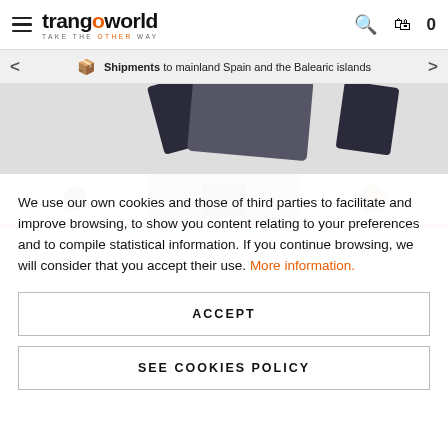trangoworld — TAKE THE OTHER WAY
Shipments to mainland Spain and the Balearic islands
[Figure (photo): Product photo showing outdoor gear items (backpacks/bags) on grey background with three thumbnail images below]
We use our own cookies and those of third parties to facilitate and improve browsing, to show you content relating to your preferences and to compile statistical information. If you continue browsing, we will consider that you accept their use. More information.
ACCEPT
SEE COOKIES POLICY